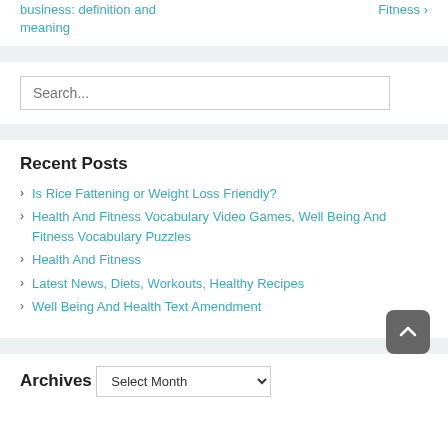business: definition and meaning
Fitness ›
Search...
Recent Posts
Is Rice Fattening or Weight Loss Friendly?
Health And Fitness Vocabulary Video Games, Well Being And Fitness Vocabulary Puzzles
Health And Fitness
Latest News, Diets, Workouts, Healthy Recipes
Well Being And Health Text Amendment
Archives
Select Month